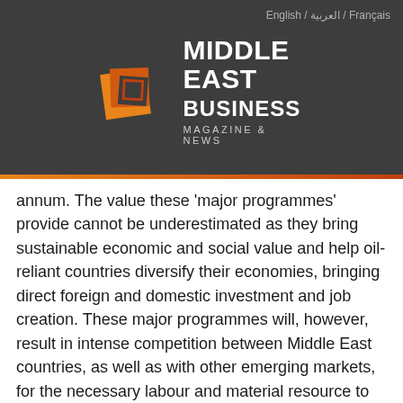English / العربية / Français
[Figure (logo): Middle East Business Magazine & News logo with orange/red square icon on dark grey background]
annum. The value these 'major programmes' provide cannot be underestimated as they bring sustainable economic and social value and help oil-reliant countries diversify their economies, bringing direct foreign and domestic investment and job creation. These major programmes will, however, result in intense competition between Middle East countries, as well as with other emerging markets, for the necessary labour and material resource to deliver them. Countries that are proactive in the provision of enabling infrastructure including appropriate welfare provision, a safe working environment, international curriculum